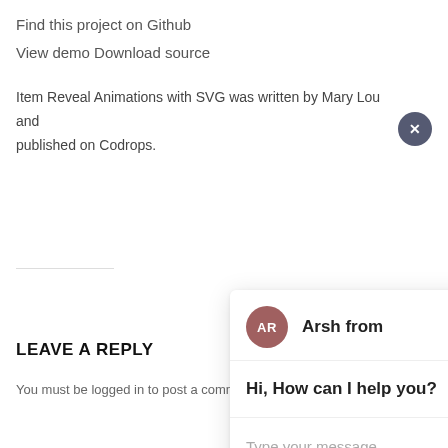Find this project on Github
View demo Download source
Item Reveal Animations with SVG was written by Mary Lou and published on Codrops.
[Figure (screenshot): Chat widget showing agent 'Arsh from' with avatar 'AR', message 'Hi, How can I help you?', and a 'Type your message' input area with a send button. A close (X) button appears in the top-right.]
LEAVE A REPLY
You must be logged in to post a comment.